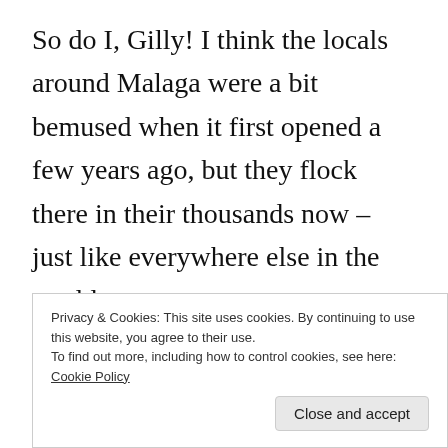So do I, Gilly! I think the locals around Malaga were a bit bemused when it first opened a few years ago, but they flock there in their thousands now – just like everywhere else in the world.
Why I wrote this post really was to point out the clever solar sunshades – but I also thought people who might be thinking of spending some time in the area might be interested to know of a store that's
Privacy & Cookies: This site uses cookies. By continuing to use this website, you agree to their use.
To find out more, including how to control cookies, see here: Cookie Policy